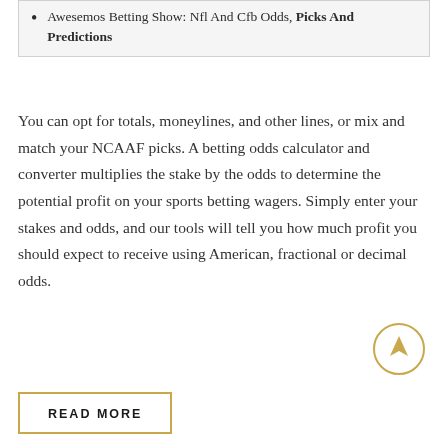Awesemos Betting Show: Nfl And Cfb Odds, Picks And Predictions
You can opt for totals, moneylines, and other lines, or mix and match your NCAAF picks. A betting odds calculator and converter multiplies the stake by the odds to determine the potential profit on your sports betting wagers. Simply enter your stakes and odds, and our tools will tell you how much profit you should expect to receive using American, fractional or decimal odds.
READ MORE